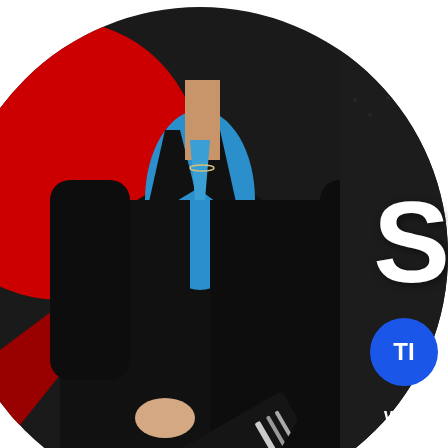[Figure (photo): A professional person in a black blazer and blue shirt holding a black folder/laptop, shown from neck to waist. A large circular crop reveals a red design element in the background on the left side. The background outside the circle is white. On the right side there is a large white letter 'S' partially visible. At the bottom right is a blue circle with white text 'TI' and below it white text 'WWW.' in partial view.]